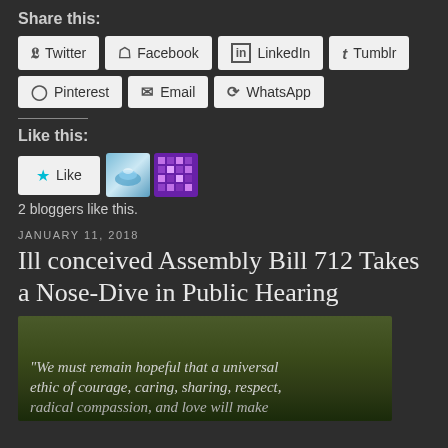Share this:
Twitter
Facebook
LinkedIn
Tumblr
Pinterest
Email
WhatsApp
Like this:
2 bloggers like this.
JANUARY 11, 2018
Ill conceived Assembly Bill 712 Takes a Nose-Dive in Public Hearing
[Figure (photo): Dark green background image with italic quote text: "We must remain hopeful that a universal ethic of courage, caring, sharing, respect, radical compassion, and love will make"]